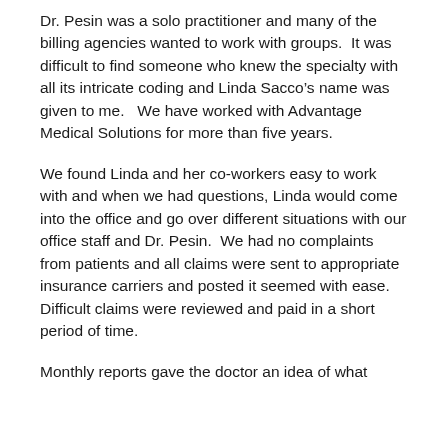Dr. Pesin was a solo practitioner and many of the billing agencies wanted to work with groups.  It was difficult to find someone who knew the specialty with all its intricate coding and Linda Sacco's name was given to me.   We have worked with Advantage Medical Solutions for more than five years.
We found Linda and her co-workers easy to work with and when we had questions, Linda would come into the office and go over different situations with our office staff and Dr. Pesin.  We had no complaints from patients and all claims were sent to appropriate insurance carriers and posted it seemed with ease.  Difficult claims were reviewed and paid in a short period of time.
Monthly reports gave the doctor an idea of what